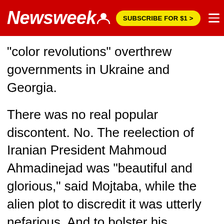Newsweek
"color revolutions" overthrew governments in Ukraine and Georgia.
There was no real popular discontent. No. The reelection of Iranian President Mahmoud Ahmadinejad was "beautiful and glorious," said Mojtaba, while the alien plot to discredit it was utterly nefarious. And to bolster his argument, he had several defendants who had been held incommunicado for weeks "confess" that they might have played a role in the great conspiracy, even if they didn't know it at the